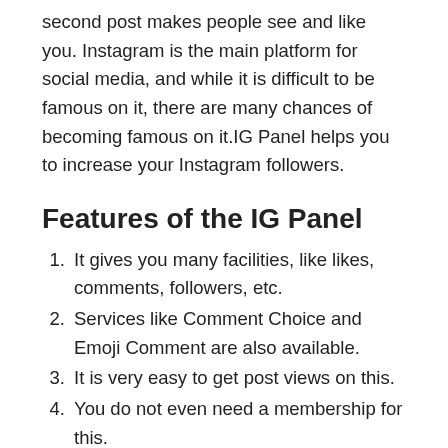second post makes people see and like you. Instagram is the main platform for social media, and while it is difficult to be famous on it, there are many chances of becoming famous on it.IG Panel helps you to increase your Instagram followers.
Features of the IG Panel
It gives you many facilities, like likes, comments, followers, etc.
Services like Comment Choice and Emoji Comment are also available.
It is very easy to get post views on this.
You do not even need a membership for this.
You don't even need to root your phone to use this app.